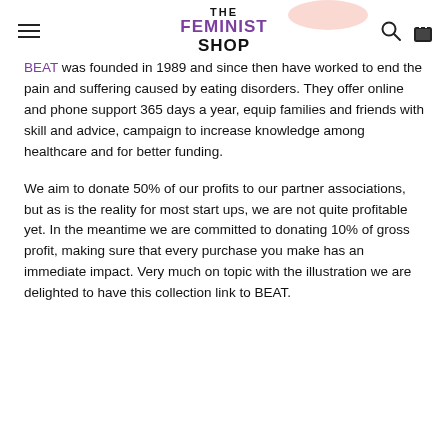THE FEMINIST SHOP
BEAT was founded in 1989 and since then have worked to end the pain and suffering caused by eating disorders. They offer online and phone support 365 days a year, equip families and friends with skill and advice, campaign to increase knowledge among healthcare and for better funding.
We aim to donate 50% of our profits to our partner associations, but as is the reality for most start ups, we are not quite profitable yet. In the meantime we are committed to donating 10% of gross profit, making sure that every purchase you make has an immediate impact. Very much on topic with the illustration we are delighted to have this collection link to BEAT.